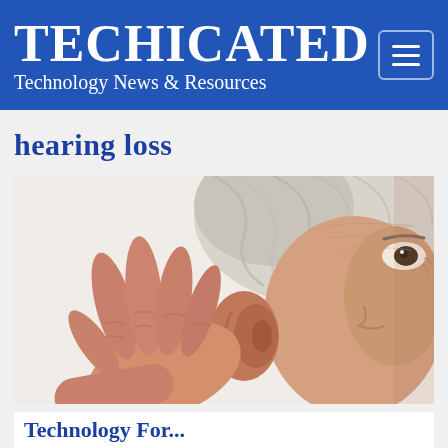TECHICATED — Technology News & Resources
hearing loss
[Figure (photo): Elderly man with white/grey hair cupping his hand behind his ear to hear better, close-up shot, white background]
Technology For...